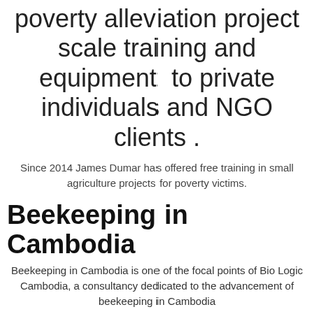poverty alleviation project scale training and equipment  to private individuals and NGO clients .
Since 2014 James Dumar has offered free training in small agriculture projects for poverty victims.
Beekeeping in Cambodia
Beekeeping in Cambodia is one of the focal points of Bio Logic Cambodia, a consultancy dedicated to the advancement of beekeeping in Cambodia
Would you like to keep bees in Cambodia? You may even be able to do it in the city on a rooftop!
Because beekeeping in Cambodia is a new industry, it can be difficult to source materials and stock.
So to anticipate your questions about what you need and how